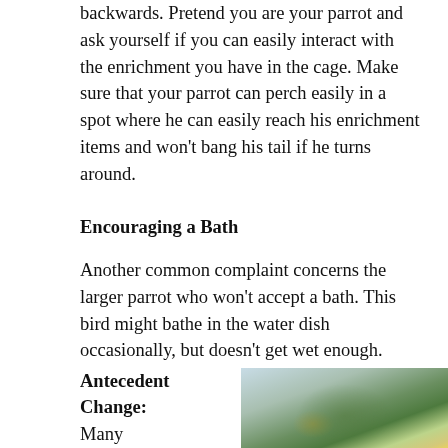backwards. Pretend you are your parrot and ask yourself if you can easily interact with the enrichment you have in the cage. Make sure that your parrot can perch easily in a spot where he can easily reach his enrichment items and won't bang his tail if he turns around.
Encouraging a Bath
Another common complaint concerns the larger parrot who won't accept a bath. This bird might bathe in the water dish occasionally, but doesn't get wet enough.
Antecedent Change: Many
[Figure (photo): A wet green parrot being bathed with water droplets visible, close-up photo showing feathers and beak]